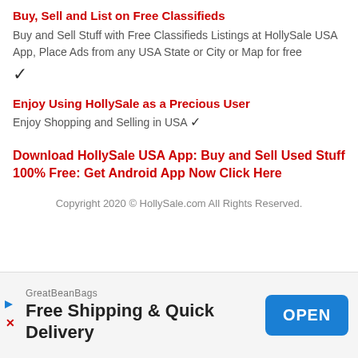Buy, Sell and List on Free Classifieds
Buy and Sell Stuff with Free Classifieds Listings at HollySale USA App, Place Ads from any USA State or City or Map for free ✓
Enjoy Using HollySale as a Precious User
Enjoy Shopping and Selling in USA ✓
Download HollySale USA App: Buy and Sell Used Stuff 100% Free: Get Android App Now Click Here
Copyright 2020 © HollySale.com All Rights Reserved.
[Figure (infographic): Ad banner for GreatBeanBags: 'Free Shipping & Quick Delivery' with an OPEN button]